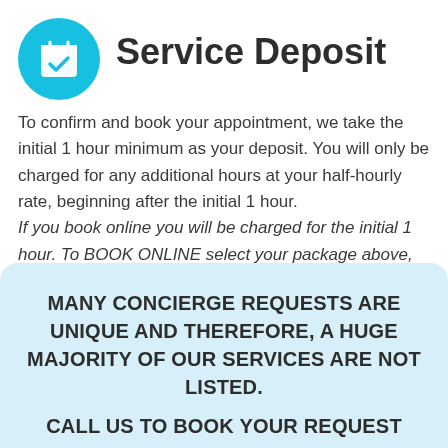Service Deposit
To confirm and book your appointment, we take the initial 1 hour minimum as your deposit. You will only be charged for any additional hours at your half-hourly rate, beginning after the initial 1 hour.
If you book online you will be charged for the initial 1 hour. To BOOK ONLINE select your package above, or continue below to the calendar to select your date and time.
MANY CONCIERGE REQUESTS ARE UNIQUE AND THEREFORE, A HUGE MAJORITY OF OUR SERVICES ARE NOT LISTED.

CALL US TO BOOK YOUR REQUEST